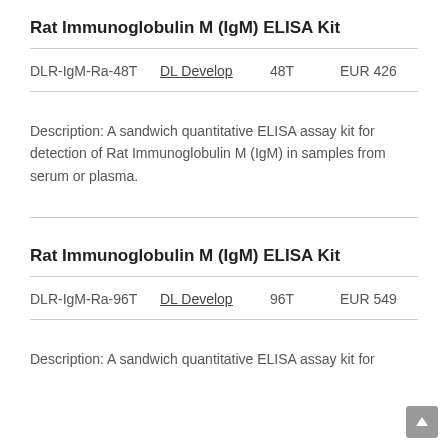Rat Immunoglobulin M (IgM) ELISA Kit
| Cat# | Supplier | Size | Price |
| --- | --- | --- | --- |
| DLR-IgM-Ra-48T | DL Develop | 48T | EUR 426 |
Description: A sandwich quantitative ELISA assay kit for detection of Rat Immunoglobulin M (IgM) in samples from serum or plasma.
Rat Immunoglobulin M (IgM) ELISA Kit
| Cat# | Supplier | Size | Price |
| --- | --- | --- | --- |
| DLR-IgM-Ra-96T | DL Develop | 96T | EUR 549 |
Description: A sandwich quantitative ELISA assay kit for